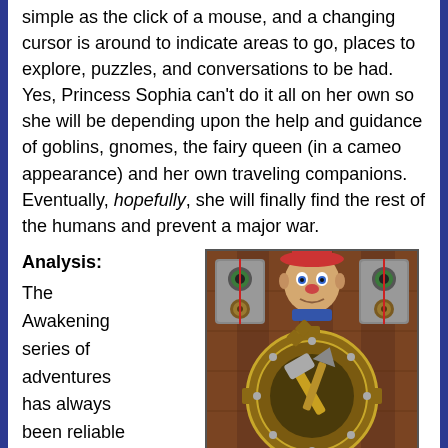simple as the click of a mouse, and a changing cursor is around to indicate areas to go, places to explore, puzzles, and conversations to be had. Yes, Princess Sophia can't do it all on her own so she will be depending upon the help and guidance of goblins, gnomes, the fairy queen (in a cameo appearance) and her own traveling companions. Eventually, hopefully, she will finally find the rest of the humans and prevent a major war.
Analysis: The Awakening series of adventures has always been reliable for two
[Figure (screenshot): A game screenshot showing a wooden door with a large gear/cog mechanism in the center. A goblin or gnome figure is visible at the top center, and there are metal fixtures on either side.]